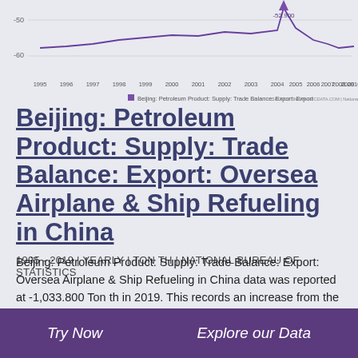[Figure (line-chart): Line chart showing Beijing Petroleum Product Supply Trade Balance Export over years 1995-2010, with y-axis showing values around -50 to -80, and a notable point at -52.900]
Beijing: Petroleum Product: Supply: Trade Balance: Export: Oversea Airplane & Ship Refueling in China
1995 - 2019 | YEARLY | TON TH | NATIONAL BUREAU OF STATISTICS
Beijing: Petroleum Product: Supply: Trade Balance: Export: Oversea Airplane & Ship Refueling in China data was reported at -1,033.800 Ton th in 2019. This records an increase from the previous number of -1,113.000 Ton th for 2018. Beijing: Petroleum Product: Supply: Trade Balance: Export: Oversea Airplane & Ship Refueling in China data is updated yearly.
Try Now   Explore our Data